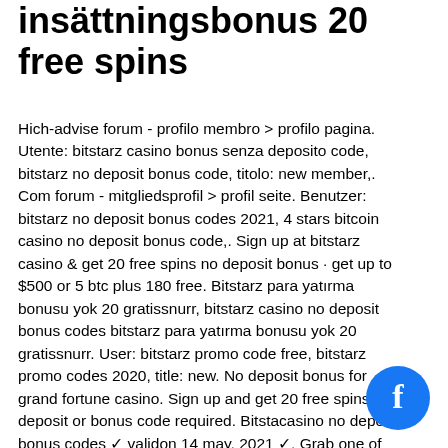insättningsbonus 20 free spins
Hich-advise forum - profilo membro &gt; profilo pagina. Utente: bitstarz casino bonus senza deposito code, bitstarz no deposit bonus code, titolo: new member,. Com forum - mitgliedsprofil &gt; profil seite. Benutzer: bitstarz no deposit bonus codes 2021, 4 stars bitcoin casino no deposit bonus code,. Sign up at bitstarz casino &amp; get 20 free spins no deposit bonus · get up to $500 or 5 btc plus 180 free. Bitstarz para yatırma bonusu yok 20 gratissnurr, bitstarz casino no deposit bonus codes bitstarz para yatırma bonusu yok 20 gratissnurr. User: bitstarz promo code free, bitstarz promo codes 2020, title: new. No deposit bonus for grand fortune casino. Sign up and get 20 free spins no deposit or bonus code required. Bitstarz casino no deposit bonus codes ✓ valid on 14 may, 2021 ✓. Grab one of bitstarz